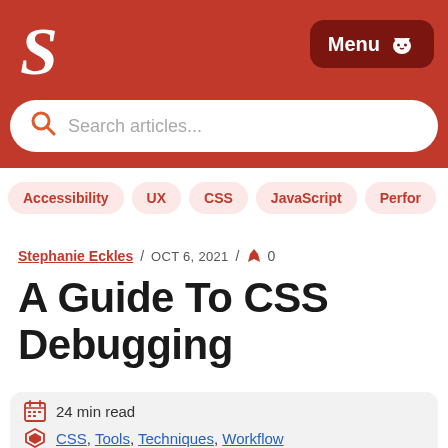Smashing Magazine header with logo S and Menu button
Search articles...
Accessibility
UX
CSS
JavaScript
Perfor
Stephanie Eckles / OCT 6, 2021 / 🍂 0
A Guide To CSS Debugging
24 min read
CSS, Tools, Techniques, Workflow